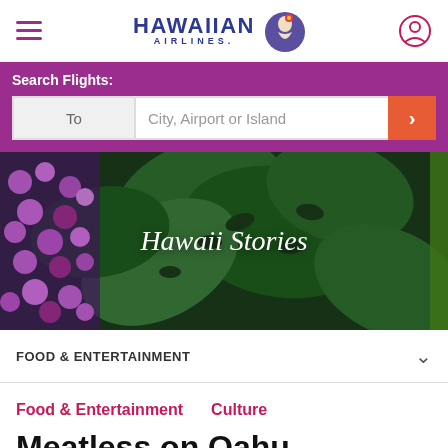Hawaiian Airlines navigation header with hamburger menu, logo, and user icon
Search Flights:
To | City, Airport or Island
[Figure (photo): Tropical foliage with large monstera leaves and bright purple/pink bougainvillea flowers on the left side, forming a lush green background]
Hawaii Stories
FOOD & ENTERTAINMENT
Food & Entertainment    Culture
Meatless on Oahu